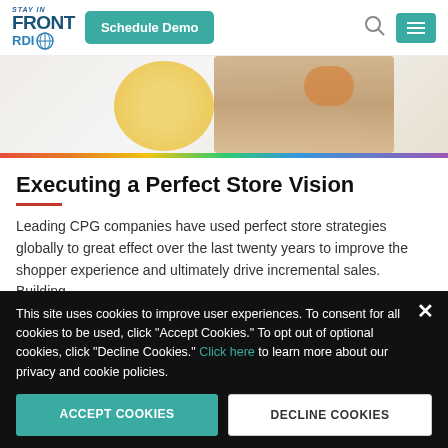[Figure (logo): Stay In Front RDI logo with globe icon, teal Schedule Demo button, search icon, and teal hamburger menu button]
[Figure (photo): Partial photo of person handling food items with colorful rainbow bar at bottom]
Executing a Perfect Store Vision
Leading CPG companies have used perfect store strategies globally to great effect over the last twenty years to improve the shopper experience and ultimately drive incremental sales. Building
This site uses cookies to improve user experiences. To consent for all cookies to be used, click "Accept Cookies." To opt out of optional cookies, click "Decline Cookies." Click here to learn more about our privacy and cookie policies.
ACCEPT COOKIES
DECLINE COOKIES